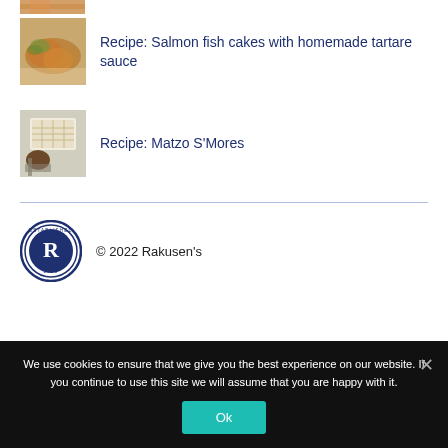[Figure (photo): Partial top image, cropped — food photo thumbnail]
[Figure (photo): Salmon fish cakes food photo thumbnail]
Recipe: Salmon fish cakes with homemade tartare sauce
[Figure (photo): Matzo S'Mores food photo thumbnail]
Recipe: Matzo S'Mores
[Figure (logo): Rakusen's established 1900 circular logo with R emblem]
© 2022 Rakusen's
We use cookies to ensure that we give you the best experience on our website. If you continue to use this site we will assume that you are happy with it.
Ok